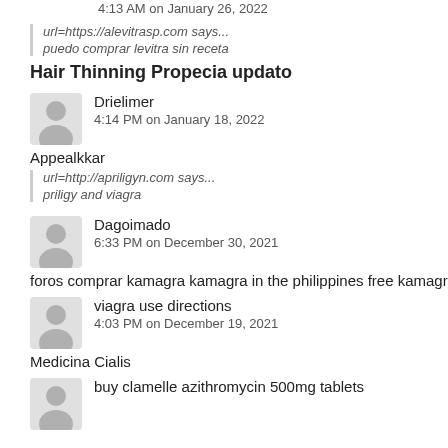4:13 AM on January 26, 2022
url=https://alevitrasp.com says... puedo comprar levitra sin receta
Hair Thinning Propecia updato
Drielimer
4:14 PM on January 18, 2022
Appealkkar
url=http://apriligyn.com says... priligy and viagra
Dagoimado
6:33 PM on December 30, 2021
foros comprar kamagra kamagra in the philippines free kamagra powered
viagra use directions
4:03 PM on December 19, 2021
Medicina Cialis
buy clamelle azithromycin 500mg tablets